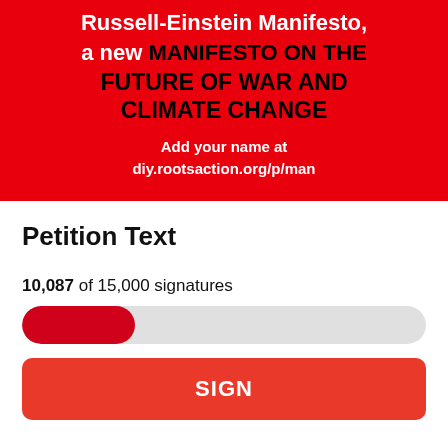[Figure (infographic): Red banner with white and black bold text: 'Russell-Einstein Manifesto, a new MANIFESTO ON THE FUTURE OF WAR AND CLIMATE CHANGE' and URL 'Add your name at diy.rootsaction.org/p/man']
Petition Text
10,087 of 15,000 signatures
[Figure (infographic): Progress bar showing approximately 28% filled in red, rest grey, indicating 10,087 of 15,000 signatures]
SIGN